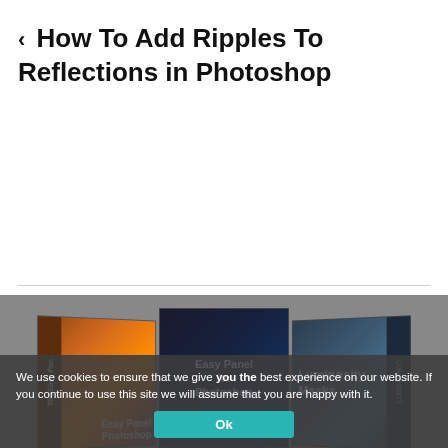❮ How To Add Ripples To Reflections in Photoshop
[Figure (photo): Product boxes for Photoshop tutorials including 'Easy Panel for Photoshop' and 'Luminosity Masks', displayed against a grey background with a cookie consent banner overlay]
We use cookies to ensure that we give you the best experience on our website. If you continue to use this site we will assume that you are happy with it.
Ok